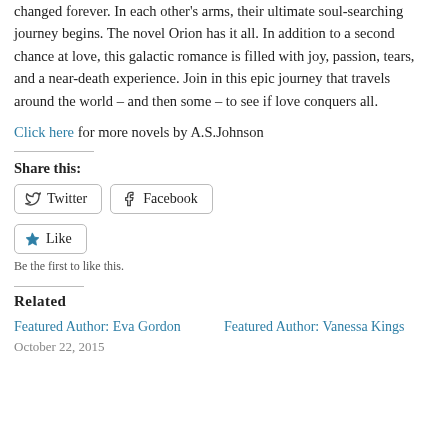changed forever. In each other's arms, their ultimate soul-searching journey begins. The novel Orion has it all. In addition to a second chance at love, this galactic romance is filled with joy, passion, tears, and a near-death experience. Join in this epic journey that travels around the world – and then some – to see if love conquers all.
Click here for more novels by A.S.Johnson
Share this:
Twitter
Facebook
Like
Be the first to like this.
Related
Featured Author: Eva Gordon
October 22, 2015
Featured Author: Vanessa Kings